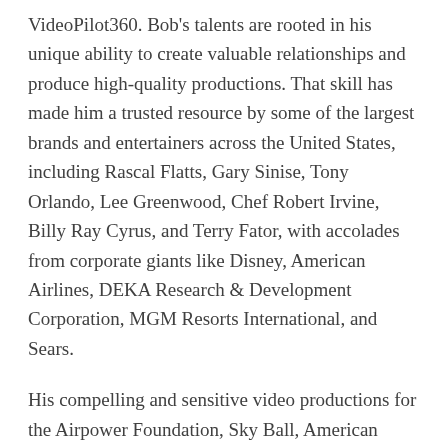VideoPilot360. Bob's talents are rooted in his unique ability to create valuable relationships and produce high-quality productions. That skill has made him a trusted resource by some of the largest brands and entertainers across the United States, including Rascal Flatts, Gary Sinise, Tony Orlando, Lee Greenwood, Chef Robert Irvine, Billy Ray Cyrus, and Terry Fator, with accolades from corporate giants like Disney, American Airlines, DEKA Research & Development Corporation, MGM Resorts International, and Sears.
His compelling and sensitive video productions for the Airpower Foundation, Sky Ball, American Airlines Veterans Initiatives, Snowball Express, The American Fallen Soldiers Project, The Gary Sinise Foundation, and many other organizations, have earned him praise from military family members